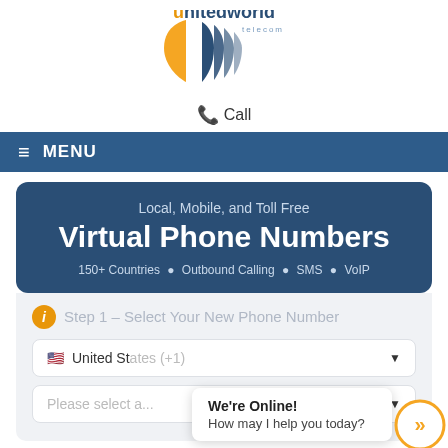[Figure (logo): United World Telecom logo — orange and blue shield-like shapes with 'unitedworld' text and 'telecom' subtext]
📞 Call
≡ MENU
Local, Mobile, and Toll Free
Virtual Phone Numbers
150+ Countries • Outbound Calling • SMS • VoIP
Step 1 – Select Your New Phone Number
🇺🇸 United States (+1)
Please select a...
We're Online!
How may I help you today?